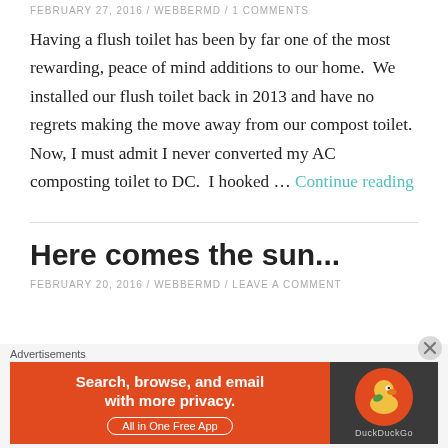FEBRUARY 27, 2016 / WEBBERMD / 1 COMMENTS
Having a flush toilet has been by far one of the most rewarding, peace of mind additions to our home.  We installed our flush toilet back in 2013 and have no regrets making the move away from our compost toilet.  Now, I must admit I never converted my AC composting toilet to DC.  I hooked … Continue reading
Here comes the sun...
FEBRUARY 20, 2016 / WEBBERMD / LEAVE A COMMENT
[Figure (infographic): DuckDuckGo advertisement banner: orange left panel reading 'Search, browse, and email with more privacy. All in One Free App', dark right panel with DuckDuckGo logo duck icon.]